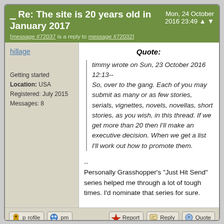Re: The site is 20 years old in January 2017 [message #72037 is a reply to message #72032] Mon, 24 October 2016 23:49
hillage
Getting started
Location: USA
Registered: July 2015
Messages: 8
Quote:
timmy wrote on Sun, 23 October 2016 12:13--
So, over to the gang. Each of you may submit as many or as few stories, serials, vignettes, novels, novellas, short stories, as you wish, in this thread. If we get more than 20 then I'll make an executive decision. When we get a list I'll work out how to promote them.
--
Personally Grasshopper's "Just Hit Send" series helped me through a lot of tough times. I'd nominate that series for sure.